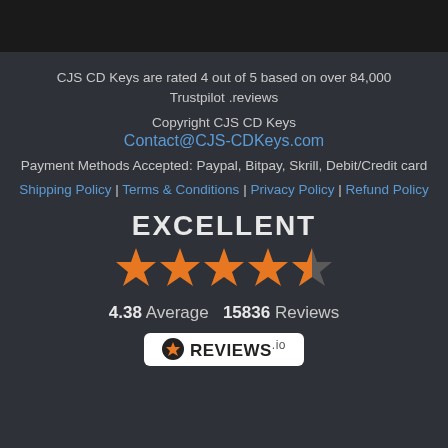CJS CD Keys are rated 4 out of 5 based on over 84,000 Trustpilot .reviews
Copyright CJS CD Keys
Contact@CJS-CDKeys.com
Payment Methods Accepted: Paypal, Bitpay, Skrill, Debit/Credit card
Shipping Policy | Terms & Conditions | Privacy Policy | Refund Policy
EXCELLENT
[Figure (other): Five orange stars rating display, with 4 full stars and 1 half star]
4.38 Average  15836 Reviews
[Figure (logo): REVIEWS.io badge with star icon]